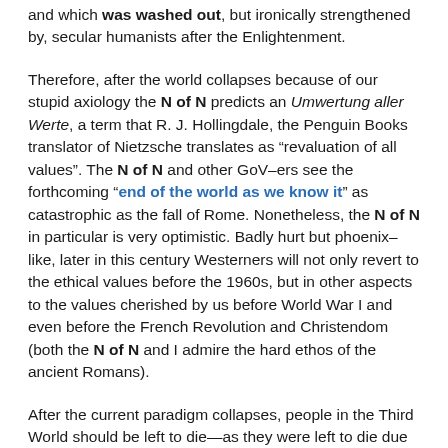and which was washed out, but ironically strengthened by, secular humanists after the Enlightenment.
Therefore, after the world collapses because of our stupid axiology the N of N predicts an Umwertung aller Werte, a term that R. J. Hollingdale, the Penguin Books translator of Nietzsche translates as “revaluation of all values”. The N of N and other GoV-ers see the forthcoming “end of the world as we know it” as catastrophic as the fall of Rome. Nonetheless, the N of N in particular is very optimistic. Badly hurt but phoenix-like, later in this century Westerners will not only revert to the ethical values before the 1960s, but in other aspects to the values cherished by us before World War I and even before the French Revolution and Christendom (both the N of N and I admire the hard ethos of the ancient Romans).
After the current paradigm collapses, people in the Third World should be left to die—as they were left to die due to natural causes (epidemics, hygienics, infant mortality, etc.) before the deranged altruism took hold of the Western psyche. Otherwise Westerners only worsen the suffering of the billions of people